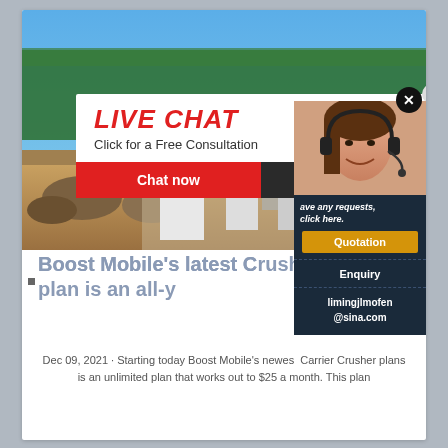[Figure (photo): Construction workers wearing yellow hard hats at a quarry/mining site with blue sky and pine trees in background. A live chat popup overlay is shown with text 'LIVE CHAT Click for a Free Consultation' and buttons 'Chat now' and 'Chat later'. A woman with headset appears on the right side panel.]
Boost Mobile's latest Carrier Crusher plan is an all-y
Dec 09, 2021 · Starting today Boost Mobile's newest Carrier Crusher plans is an unlimited plan that works out to $25 a month. This plan